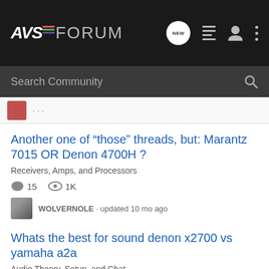AVSForum
Search Community
Another one of “those” threads, but: Marantz 7015 OR Denon 4700H ?
Receivers, Amps, and Processors
15 replies, 1K views
WOLVERNOLE · updated 10 mo ago
Whats the best for sound denon x2700 vs yamaha a2a
Audio Theory, Setup, and Chat
8 replies, 1K views